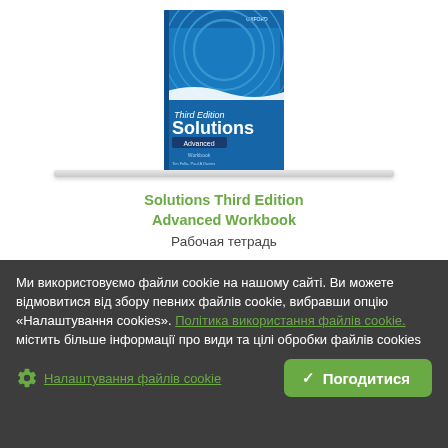[Figure (photo): Cover of Solutions Third Edition Advanced Workbook by Oxford University Press, displayed on a shelf. Blue cover with circular geometric pattern.]
Solutions Third Edition Advanced Workbook
Рабочая тетрадь
Ми використовуємо файли cookie на нашому сайті. Ви можете відмовитися від збору певних файлів cookie, вибравши опцію «Налаштування cookies». Політика використання файлів cookie. містить більше інформації про види та цілі обробки файлів cookies
Налаштування файлів cookie
Погодитися